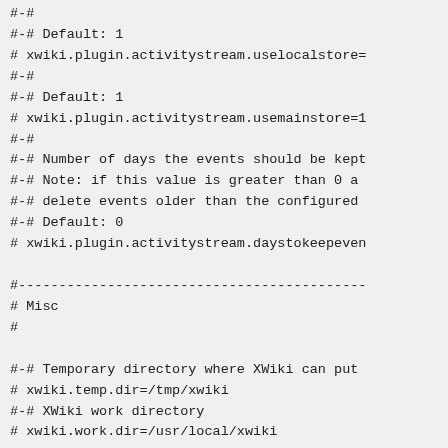#-#
#-# Default: 1
# xwiki.plugin.activitystream.uselocalstore=
#-#
#-# Default: 1
# xwiki.plugin.activitystream.usemainstore=1
#-#
#-# Number of days the events should be kept
#-# Note: if this value is greater than 0 a
#-# delete events older than the configured
#-# Default: 0
# xwiki.plugin.activitystream.daystokeepeven

#-------------------------------------------
# Misc
#

#-# Temporary directory where XWiki can put
# xwiki.temp.dir=/tmp/xwiki
#-# XWiki work directory
# xwiki.work.dir=/usr/local/xwiki